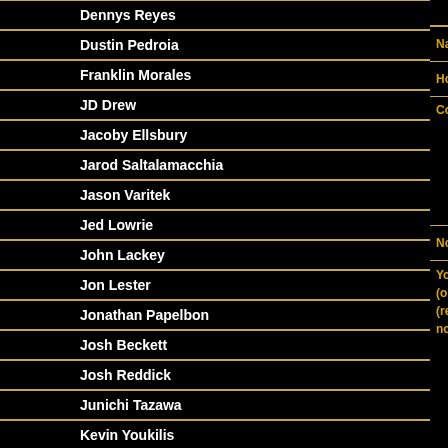Dennys Reyes
Dustin Pedroia
Franklin Morales
JD Drew
Jacoby Ellsbury
Jarod Saltalamacchia
Jason Varitek
Jed Lowrie
John Lackey
Jon Lester
Jonathan Papelbon
Josh Beckett
Josh Reddick
Junichi Tazawa
Kevin Youkilis
Marco Scutaro
Matt Albers
Mike Cameron
Rich Hill
CLICK HERE TO LOGIN |
Name or Orble Tag: Anonymous
Home Page (optional)
Comments --- Size ---
Notify me of replies: No
Your Email Address (optional) (required for reply notification)